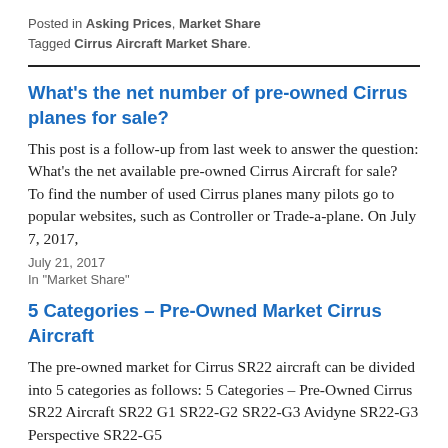Posted in Asking Prices, Market Share
Tagged Cirrus Aircraft Market Share.
What's the net number of pre-owned Cirrus planes for sale?
This post is a follow-up from last week to answer the question: What's the net available pre-owned Cirrus Aircraft for sale?  To find the number of used Cirrus planes many pilots go to popular websites, such as Controller or Trade-a-plane. On July 7, 2017,
July 21, 2017
In "Market Share"
5 Categories – Pre-Owned Market Cirrus Aircraft
The pre-owned market for Cirrus SR22 aircraft can be divided into 5 categories as follows: 5 Categories – Pre-Owned Cirrus SR22 Aircraft SR22 G1 SR22-G2 SR22-G3 Avidyne SR22-G3 Perspective SR22-G5